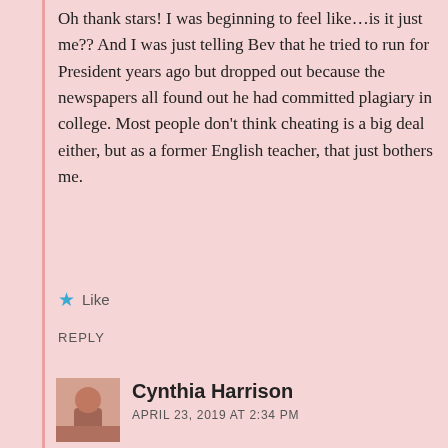Oh thank stars! I was beginning to feel like...is it just me?? And I was just telling Bev that he tried to run for President years ago but dropped out because the newspapers all found out he had committed plagiary in college. Most people don't think cheating is a big deal either, but as a former English teacher, that just bothers me.
Like
REPLY
Cynthia Harrison
APRIL 23, 2019 AT 2:34 PM
Bev from Florida writers, lol.
Like